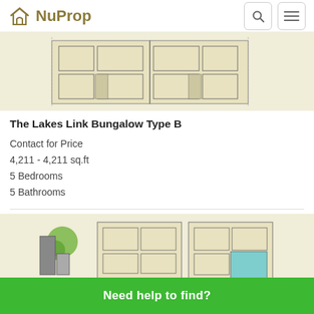NuProp
[Figure (schematic): Floor plan image for The Lakes Link Bungalow Type B showing architectural layout on beige background]
The Lakes Link Bungalow Type B
Contact for Price
4,211 - 4,211 sq.ft
5 Bedrooms
5 Bathrooms
[Figure (schematic): Second floor plan image showing architectural layout with greenery elements on beige background]
Need help to find?